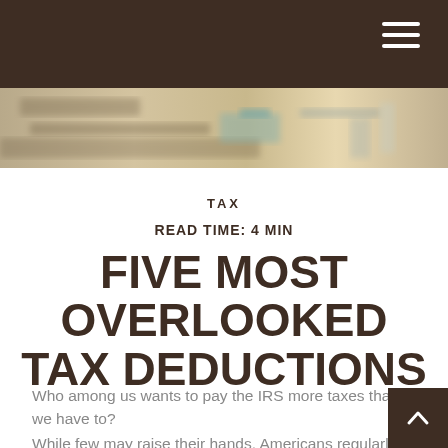[Figure (photo): Blurred desk scene with books, ruler, and writing instruments in warm tones]
TAX
READ TIME: 4 MIN
FIVE MOST OVERLOOKED TAX DEDUCTIONS
Who among us wants to pay the IRS more taxes than we have to?
While few may raise their hands, Americans regularly